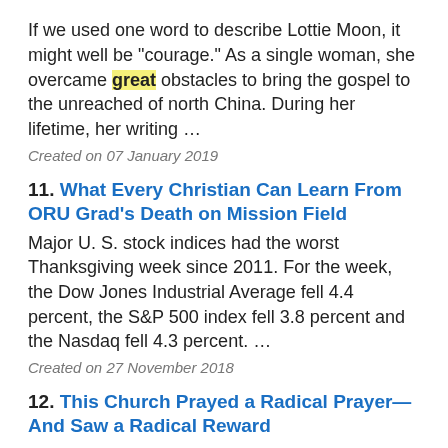If we used one word to describe Lottie Moon, it might well be "courage." As a single woman, she overcame great obstacles to bring the gospel to the unreached of north China. During her lifetime, her writing ...
Created on 07 January 2019
11. What Every Christian Can Learn From ORU Grad's Death on Mission Field — Major U. S. stock indices had the worst Thanksgiving week since 2011. For the week, the Dow Jones Industrial Average fell 4.4 percent, the S&P 500 index fell 3.8 percent and the Nasdaq fell 4.3 percent. ...
Created on 27 November 2018
12. This Church Prayed a Radical Prayer—And Saw a Radical Reward — … dical debt in the metroplex. No matter if we ever hear from any of the recipients, we feel that's a pretty good return on investment. Buying the medical debt...